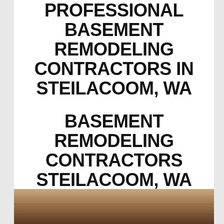PROFESSIONAL BASEMENT REMODELING CONTRACTORS IN STEILACOOM, WA
BASEMENT REMODELING CONTRACTORS STEILACOOM, WA
[Figure (photo): Photo of a basement or wooden flooring/wall surface in brown/tan tones]